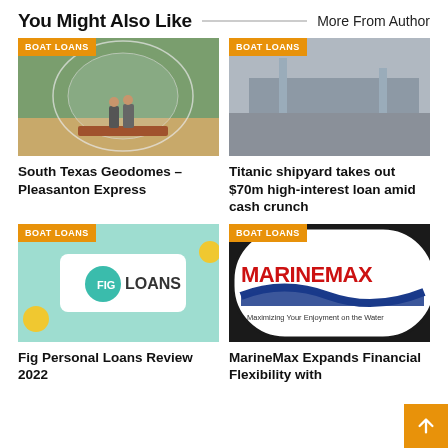You Might Also Like
More From Author
[Figure (photo): Two people standing in front of a geodome structure with a wooden deck]
BOAT LOANS
South Texas Geodomes – Pleasanton Express
[Figure (photo): Boat Loans category placeholder image, gray background]
BOAT LOANS
Titanic shipyard takes out $70m high-interest loan amid cash crunch
[Figure (logo): Fig Loans logo on teal background with yellow coin decorations]
BOAT LOANS
Fig Personal Loans Review 2022
[Figure (logo): MarineMax logo — red text MARINEMAX with blue wave graphic, tagline Maximizing Your Enjoyment on the Water, black border]
BOAT LOANS
MarineMax Expands Financial Flexibility with New Credit Facility…